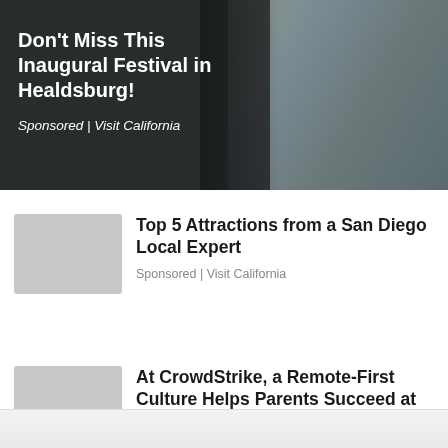[Figure (photo): Banner image with dark overlay showing people, used as background for sponsored article about Healdsburg festival by Visit California]
Don't Miss This Inaugural Festival in Healdsburg!
Sponsored | Visit California
Top 5 Attractions from a San Diego Local Expert
Sponsored | Visit California
At CrowdStrike, a Remote-First Culture Helps Parents Succeed at Work and at Home
Sponsored | The Muse